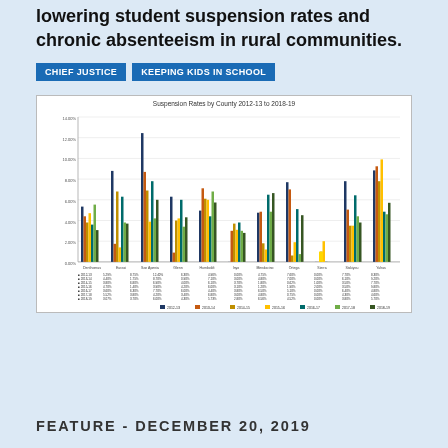lowering student suspension rates and chronic absenteeism in rural communities.
CHIEF JUSTICE
KEEPING KIDS IN SCHOOL
[Figure (grouped-bar-chart): Suspension Rates by County 2012-13 to 2018-19]
FEATURE - DECEMBER 20, 2019